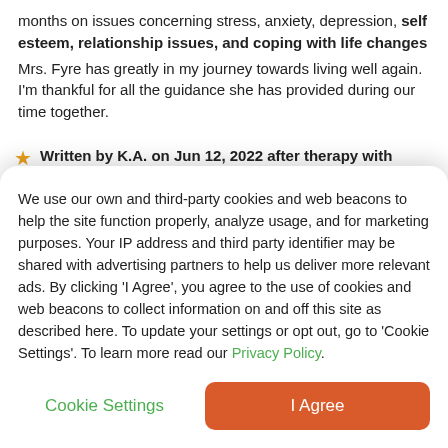months on issues concerning stress, anxiety, depression, self esteem, relationship issues, and coping with life changes
Mrs. Fyre has greatly in my journey towards living well again. I'm thankful for all the guidance she has provided during our time together.
Written by K.A. on Jun 12, 2022 after therapy with Trudy for 6 months on issues concerning depression, stress, anxiety
We use our own and third-party cookies and web beacons to help the site function properly, analyze usage, and for marketing purposes. Your IP address and third party identifier may be shared with advertising partners to help us deliver more relevant ads. By clicking 'I Agree', you agree to the use of cookies and web beacons to collect information on and off this site as described here. To update your settings or opt out, go to 'Cookie Settings'. To learn more read our Privacy Policy.